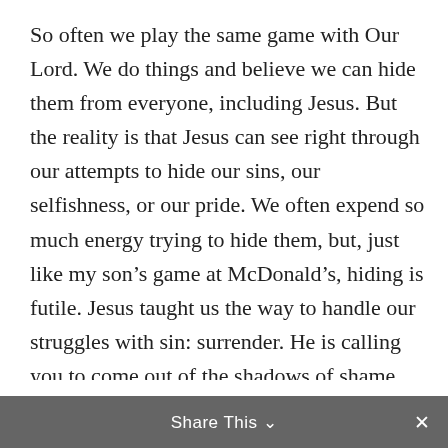So often we play the same game with Our Lord. We do things and believe we can hide them from everyone, including Jesus. But the reality is that Jesus can see right through our attempts to hide our sins, our selfishness, or our pride. We often expend so much energy trying to hide them, but, just like my son’s game at McDonald’s, hiding is futile. Jesus taught us the way to handle our struggles with sin: surrender. He is calling you to come out of the shadows of shame and regret and to fall down at his feet and let go. Let go of all the things you have grown attached to that are wrong or sinful. Let go of the anger, let go of the lust, let go of the
Share This ∨